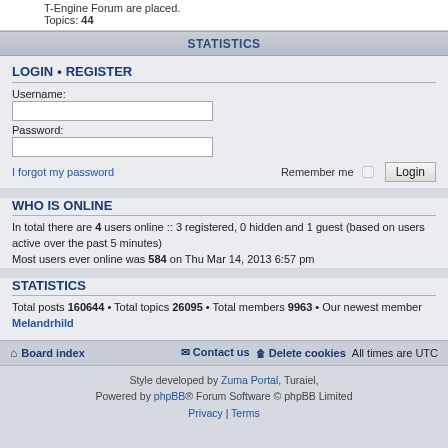T-Engine Forum are placed.
Topics: 44
STATISTICS
LOGIN • REGISTER
Username:
Password:
I forgot my password    Remember me  [checkbox]  Login
WHO IS ONLINE
In total there are 4 users online :: 3 registered, 0 hidden and 1 guest (based on users active over the past 5 minutes)
Most users ever online was 584 on Thu Mar 14, 2013 6:57 pm
STATISTICS
Total posts 160644 • Total topics 26095 • Total members 9963 • Our newest member Melandrhild
Board index   Contact us   Delete cookies   All times are UTC
Style developed by Zuma Portal, Turaiel,
Powered by phpBB® Forum Software © phpBB Limited
Privacy | Terms